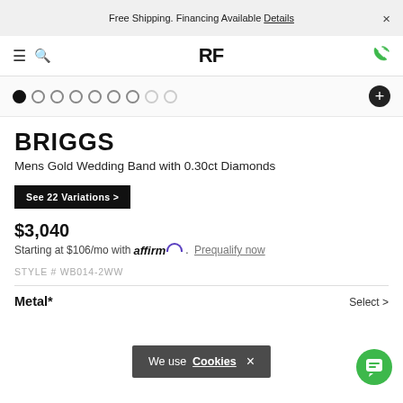Free Shipping. Financing Available Details ×
RF (logo) menu, search, phone
[Figure (other): Carousel dot indicators, 9 dots with first filled, plus button on right]
BRIGGS
Mens Gold Wedding Band with 0.30ct Diamonds
See 22 Variations >
$3,040
Starting at $106/mo with affirm. Prequalify now
STYLE # WB014-2WW
Metal*
Select >
We use Cookies ×